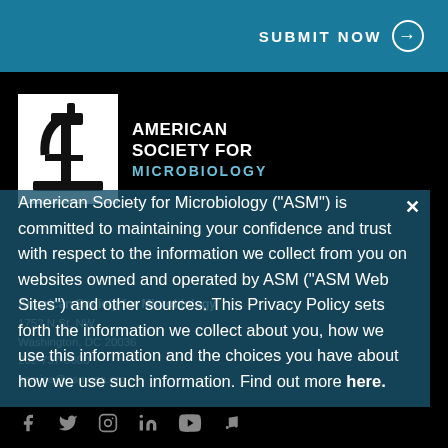SUBMIT NOW →
[Figure (logo): American Society for Microbiology logo — microscope silhouette in white box with text AMERICAN SOCIETY FOR MICROBIOLOGY]
American Society for Microbiology ("ASM") is committed to maintaining your confidence and trust with respect to the information we collect from you on websites owned and operated by ASM ("ASM Web Sites") and other sources. This Privacy Policy sets forth the information we collect about you, how we use this information and the choices you have about how we use such information. Find out more here.
American Society for Microbiology
1752 N St, NW
Washington, DC 20036
202-737-3600
service@asmusa.org
[Figure (infographic): Social media icons: Facebook, Twitter, Instagram, LinkedIn, YouTube, Music note]